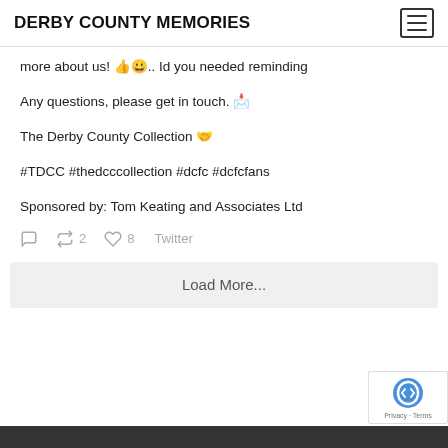DERBY COUNTY MEMORIES
more about us! 👍😀.. Id you needed reminding
Any questions, please get in touch. 📩
The Derby County Collection 🤝
#TDCC #thedcccollection #dcfc #dcfcfans
Sponsored by: Tom Keating and Associates Ltd
🗨 🔁 2  ♡ 8  Twitter
Load More...